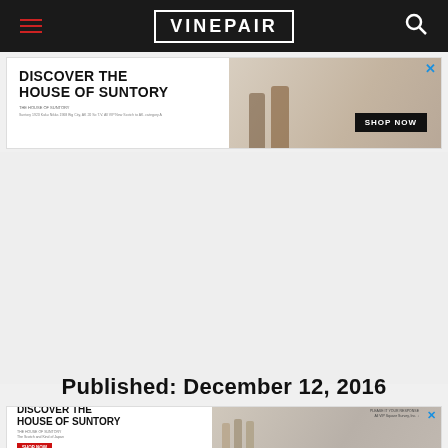VinePair
[Figure (illustration): Advertisement banner: Discover the House of Suntory with whisky bottles and SHOP NOW button]
[Figure (photo): Large empty/loading content area]
Published: December 12, 2016
[Figure (illustration): Advertisement banner: Discover the House of Suntory with whisky bottles and SHOP NOW button (second instance)]